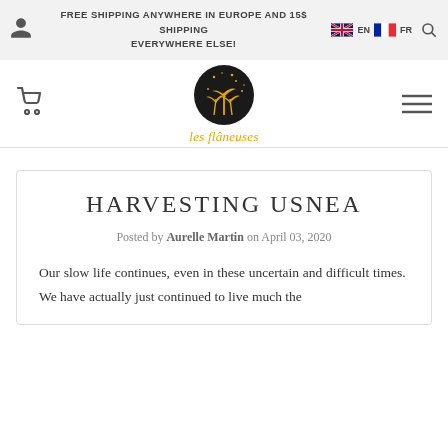FREE SHIPPING ANYWHERE IN EUROPE AND 15$ SHIPPING EVERYWHERE ELSE! EN FR
[Figure (logo): Les Flaneuses logo: dark circle with palm trees and stars, with cursive 'les flâneuses' text below in gold]
HARVESTING USNEA
Posted by Aurelle Martin on April 03, 2020
Our slow life continues, even in these uncertain and difficult times.  We have actually just continued to live much the